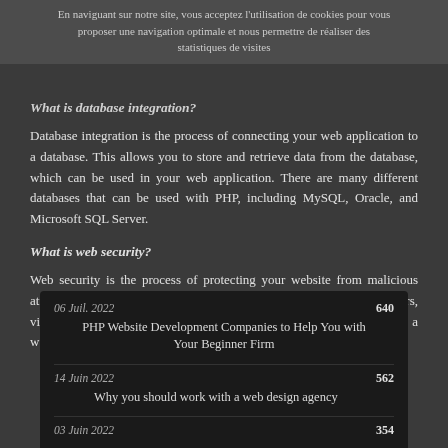En naviguant sur notre site, vous acceptez l'utilisation de cookies pour vous proposer une navigation optimale et nous permettre de réaliser des statistiques de visites
What is database integration?
Database integration is the process of connecting your web application to a database. This allows you to store and retrieve data from the database, which can be used in your web application. There are many different databases that can be used with PHP, including MySQL, Oracle, and Microsoft SQL Server.
What is web security?
Web security is the process of protecting your website from malicious attacks. This includes ensuring that your website is safe from hackers, viruses, and other threats. There are many different ways to secure a website, including using encryption, firewalls, and authentication.
06 Juil. 2022
640
PHP Website Development Companies to Help You with Your Beginner Firm
14 Juin 2022
562
Why you should work with a web design agency
03 Juin 2022
354